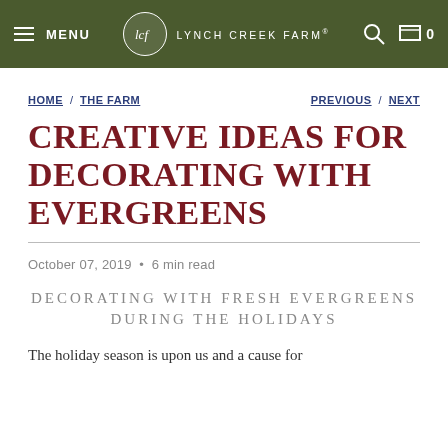MENU | LCF LYNCH CREEK FARM | 0
HOME / THE FARM    PREVIOUS / NEXT
CREATIVE IDEAS FOR DECORATING WITH EVERGREENS
October 07, 2019  •  6 min read
DECORATING WITH FRESH EVERGREENS DURING THE HOLIDAYS
The holiday season is upon us and a cause for